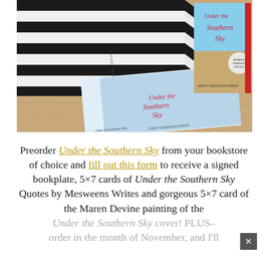[Figure (photo): Photo of two copies of the book 'Under the Southern Sky' by Kristy Woodson Harvey on a wooden surface, with a black and white striped bag in the background. One copy is lying flat showing the spine and cover, another is standing upright.]
Preorder Under the Southern Sky from your bookstore of choice and fill out this form to receive a signed bookplate, 5×7 cards of Under the Southern Sky Quotes by Mesweens Writes and gorgeous 5×7 card of the Maren Devine painting of the Under the Southern Sky cover! PLUS– order in the month of November, and I'll